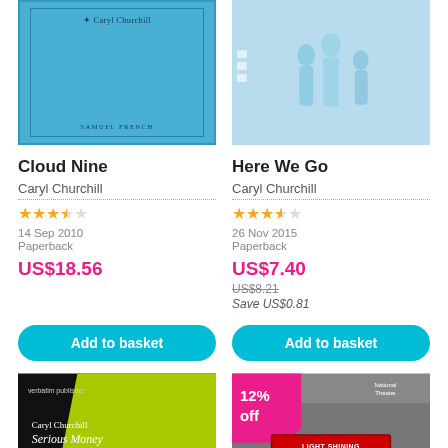[Figure (illustration): Blue book cover for 'Cloud Nine' by Caryl Churchill, published by Samuel French]
[Figure (illustration): Light blue book cover for 'Here We Go' by Caryl Churchill with silhouetted figures]
Cloud Nine
Here We Go
Caryl Churchill
Caryl Churchill
14 Sep 2010
26 Nov 2015
Paperback
Paperback
US$18.56
US$7.40
US$8.21
Save US$0.81
Add to basket
Add to basket
[Figure (illustration): Black and lime green book cover for 'Serious Money' by Caryl Churchill]
[Figure (illustration): Book cover with 12% off badge, National Theatre logo, and 'Light Shining' text on red banner]